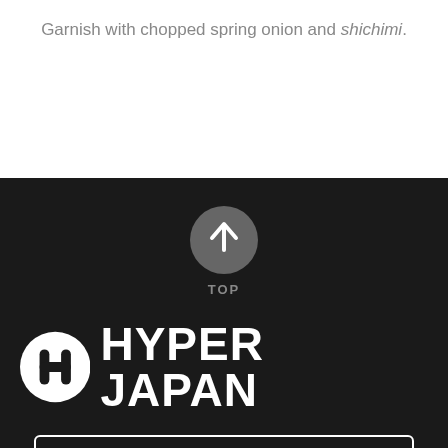Garnish with chopped spring onion and shichimi.
[Figure (infographic): Grey circle with upward arrow icon and 'TOP' label beneath, on dark background]
[Figure (logo): HYPER JAPAN logo with circular icon containing stylized H letter, white on dark background]
CONTACT US